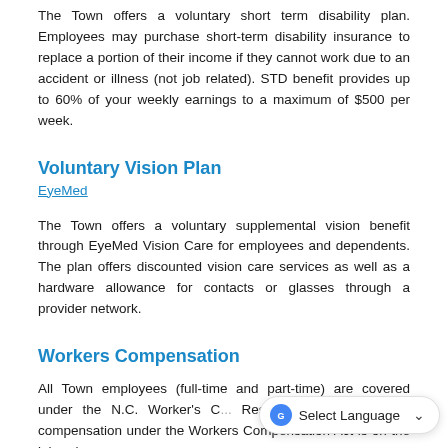The Town offers a voluntary short term disability plan. Employees may purchase short-term disability insurance to replace a portion of their income if they cannot work due to an accident or illness (not job related). STD benefit provides up to 60% of your weekly earnings to a maximum of $500 per week.
Voluntary Vision Plan
EyeMed
The Town offers a voluntary supplemental vision benefit through EyeMed Vision Care for employees and dependents. The plan offers discounted vision care services as well as a hardware allowance for contacts or glasses through a provider network.
Workers Compensation
All Town employees (full-time and part-time) are covered under the N.C. Worker's C... Responsibility for claiming compensation under the Workers Compensation Act is on the injured